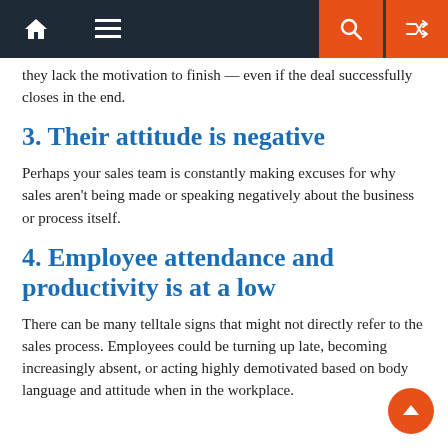Navigation bar with home, menu, search, and shuffle icons
they lack the motivation to finish — even if the deal successfully closes in the end.
3. Their attitude is negative
Perhaps your sales team is constantly making excuses for why sales aren't being made or speaking negatively about the business or process itself.
4. Employee attendance and productivity is at a low
There can be many telltale signs that might not directly refer to the sales process. Employees could be turning up late, becoming increasingly absent, or acting highly demotivated based on body language and attitude when in the workplace.